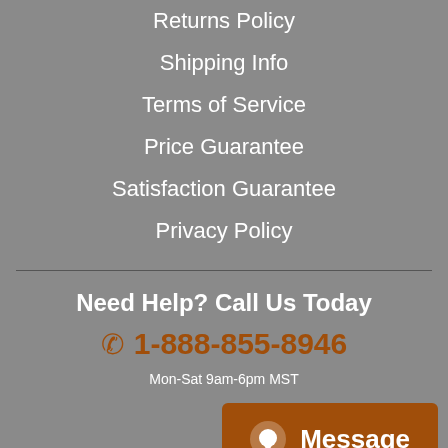Returns Policy
Shipping Info
Terms of Service
Price Guarantee
Satisfaction Guarantee
Privacy Policy
Need Help? Call Us Today
1-888-855-8946
Mon-Sat 9am-6pm MST
Message